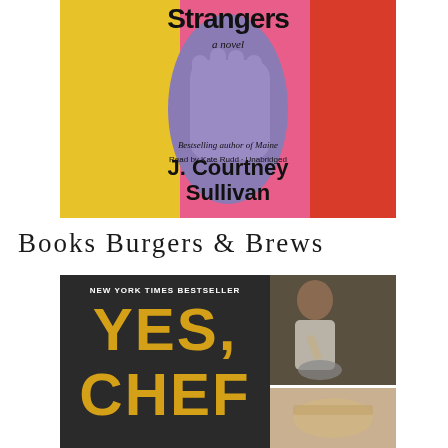[Figure (illustration): Book cover for 'Strangers: a novel' by J. Courtney Sullivan. Colorful abstract illustration with yellow, pink, red backgrounds and a purple hand holding something. Text reads: 'Strangers a novel J. Courtney Sullivan Bestselling author of Maine Read by Kate Rudd · Unabridged']
Books Burgers & Brews
[Figure (illustration): Book cover and related photos for 'Yes, Chef' — New York Times Bestseller. Dark chalkboard background with yellow text. Collage includes a photo of a person pouring liquid into a bowl, and another partial photo at the bottom right.]